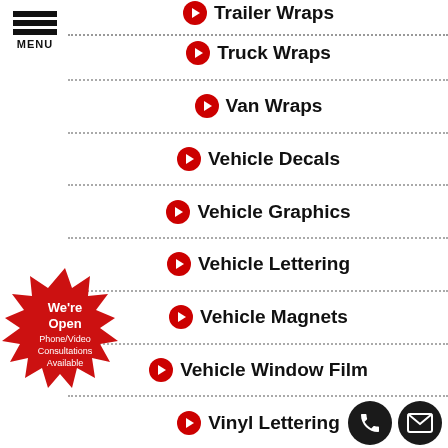[Figure (logo): Hamburger menu icon with three black bars and MENU label below]
Trailer Wraps
Truck Wraps
Van Wraps
Vehicle Decals
Vehicle Graphics
Vehicle Lettering
Vehicle Magnets
Vehicle Window Film
Vinyl Lettering
[Figure (infographic): Red starburst badge with text: We're Open Phone/Video Consultations Available]
[Figure (logo): Black circle phone icon]
[Figure (logo): Black circle email/envelope icon]